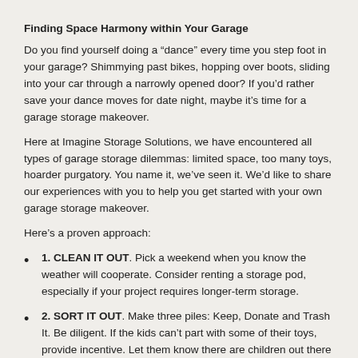Finding Space Harmony within Your Garage
Do you find yourself doing a “dance” every time you step foot in your garage? Shimmying past bikes, hopping over boots, sliding into your car through a narrowly opened door? If you’d rather save your dance moves for date night, maybe it’s time for a garage storage makeover.
Here at Imagine Storage Solutions, we have encountered all types of garage storage dilemmas: limited space, too many toys, hoarder purgatory. You name it, we’ve seen it. We’d like to share our experiences with you to help you get started with your own garage storage makeover.
Here’s a proven approach:
1. CLEAN IT OUT. Pick a weekend when you know the weather will cooperate. Consider renting a storage pod, especially if your project requires longer-term storage.
2. SORT IT OUT. Make three piles: Keep, Donate and Trash It. Be diligent. If the kids can’t part with some of their toys, provide incentive. Let them know there are children out there that would love to receive the gift of a well-loved toy. Remember if you donate your items to a charity, it can be itemized as a tax write-off. Lastly, if you haven’t used something in a year, pitch it. You won’t miss it. The 50-50 Rule applies: most likely only about half of what you have in your garage right now is necessary and of value to you.